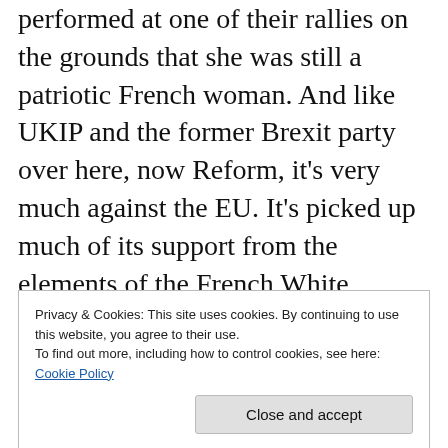performed at one of their rallies on the grounds that she was still a patriotic French woman. And like UKIP and the former Brexit party over here, now Reform, it's very much against the EU. It's picked up much of its support from the elements of the French White working class, who've been left behind by neoliberalism and 'centrist' welfare cuts, and who also feel threatened by immigration and the European
Privacy & Cookies: This site uses cookies. By continuing to use this website, you agree to their use.
To find out more, including how to control cookies, see here: Cookie Policy
Close and accept